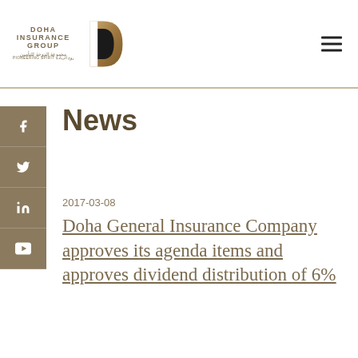[Figure (logo): Doha Insurance Group logo with D-shaped gold/black symbol and Arabic text 'مجموعة الدوحة للتأمين' and tagline 'PIONEERING SPIRIT روح الريادة']
News
2017-03-08
Doha General Insurance Company approves its agenda items and approves dividend distribution of 6%